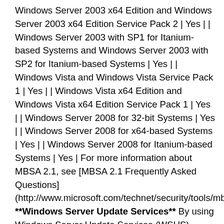Windows Server 2003 x64 Edition and Windows Server 2003 x64 Edition Service Pack 2 | Yes | | Windows Server 2003 with SP1 for Itanium-based Systems and Windows Server 2003 with SP2 for Itanium-based Systems | Yes | | Windows Vista and Windows Vista Service Pack 1 | Yes | | Windows Vista x64 Edition and Windows Vista x64 Edition Service Pack 1 | Yes | | Windows Server 2008 for 32-bit Systems | Yes | | Windows Server 2008 for x64-based Systems | Yes | | Windows Server 2008 for Itanium-based Systems | Yes | For more information about MBSA 2.1, see [MBSA 2.1 Frequently Asked Questions] (http://www.microsoft.com/technet/security/tools/mbsa2/qa.m **Windows Server Update Services** By using Windows Server Update Services (WSUS), administrators can deploy the latest critical updates and security updates for Windows 2000 operating systems and later, Office XP and later, Exchange Server 2003, and SQL Server 2000. For more information about how to deploy this security update using